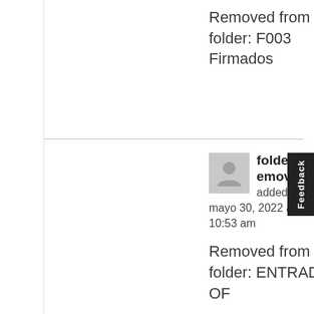Removed from folder: F003 Firmados
folders_remove added on mayo 30, 2022 a las 10:53 am
Removed from folder: ENTRADAS OF